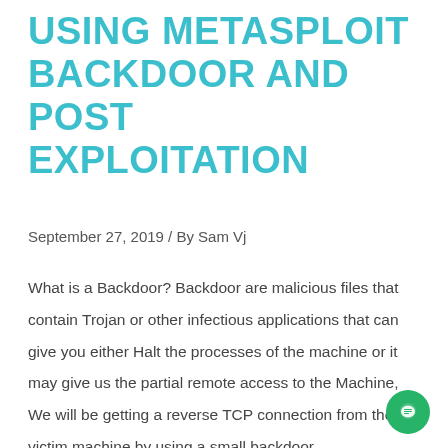USING METASPLOIT BACKDOOR AND POST EXPLOITATION
September 27, 2019 / By Sam Vj
What is a Backdoor? Backdoor are malicious files that contain Trojan or other infectious applications that can give you either Halt the processes of the machine or it may give us the partial remote access to the Machine, We will be getting a reverse TCP connection from the victim machine by using a small backdoor …